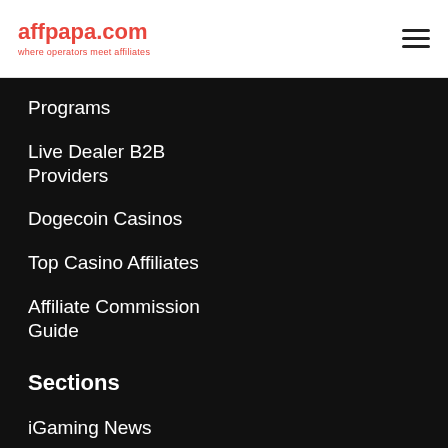affpapa.com — where operators meet affiliates
Programs
Live Dealer B2B Providers
Dogecoin Casinos
Top Casino Affiliates
Affiliate Commission Guide
Sections
iGaming News
Top News
iGaming Interviews